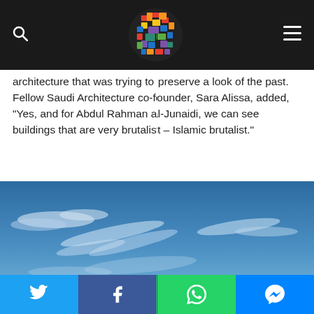Navigation bar with logo, search icon, and hamburger menu
architecture that was trying to preserve a look of the past. Fellow Saudi Architecture co-founder, Sara Alissa, added, “Yes, and for Abdul Rahman al-Junaidi, we can see buildings that are very brutalist – Islamic brutalist.”
[Figure (photo): Blue sky with wispy white clouds]
Social share buttons: Twitter, Facebook, WhatsApp, Messenger